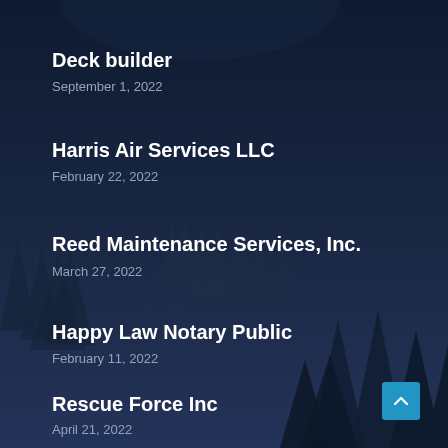Deck builder
September 1, 2022
Harris Air Services LLC
February 22, 2022
Reed Maintenance Services, Inc.
March 27, 2022
Happy Law Notary Public
February 11, 2022
Rescue Force Inc
April 21, 2022